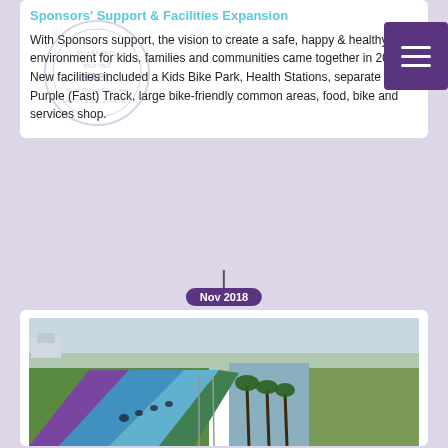Sponsors' Support & Facilities Expansion
With Sponsors support, the vision to create a safe, happy & healthy environment for kids, families and communities came together in 2016. New facilities included a Kids Bike Park, Health Stations, separate Purple (Fast) Track, large bike-friendly common areas, food, bike and services shop.
[Figure (logo): Circular watermark logo with Thai text and 'HAPPY SOUL JOURNEY' text]
[Figure (other): Purple hamburger menu button with three white horizontal lines]
Nov 2018
[Figure (photo): Aerial photo of a colorful bike lane with purple and blue tracks alongside a canal, palm trees, and green fields]